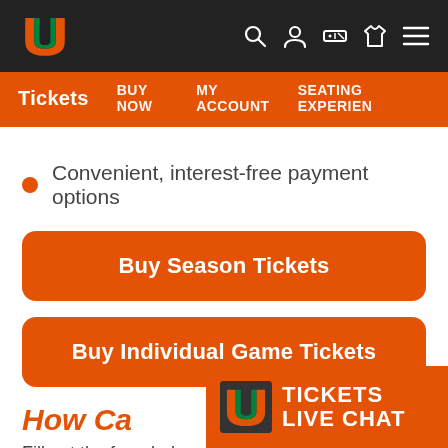University of Miami Hurricanes navigation bar with logo and icons
Tickets  BUY NOW  MY ACCOUNT  SEATING EXPERIENCE
Convenient, interest-free payment options
Buy Season Tickets
Buy Individual Game Tickets
How Ca...
Fill out the form below and one of our sales...
[Figure (logo): University of Miami Hurricanes Tickets Live Chat badge with orange background, UM logo, TICKETS LIVE CHAT text]